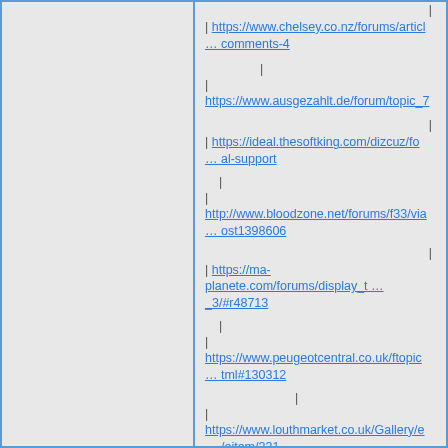| https://www.chelsey.co.nz/forums/articl … comments-4
| https://www.ausgezahlt.de/forum/topic_7
| https://ideal.thesoftking.com/dizcuz/fo … al-support
| http://www.bloodzone.net/forums/f33/via … ost1398606
| https://ma-planete.com/forums/display_t … _3/#r48713
| https://www.peugeotcentral.co.uk/ftopic … tml#130312
| https://www.louthmarket.co.uk/Gallery/e … /eitem/231